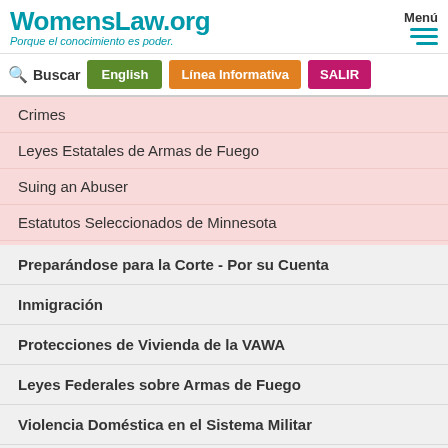WomensLaw.org — Porque el conocimiento es poder.
Crimes
Leyes Estatales de Armas de Fuego
Suing an Abuser
Estatutos Seleccionados de Minnesota
Preparándose para la Corte - Por su Cuenta
Inmigración
Protecciones de Vivienda de la VAWA
Leyes Federales sobre Armas de Fuego
Violencia Doméstica en el Sistema Militar
Videos